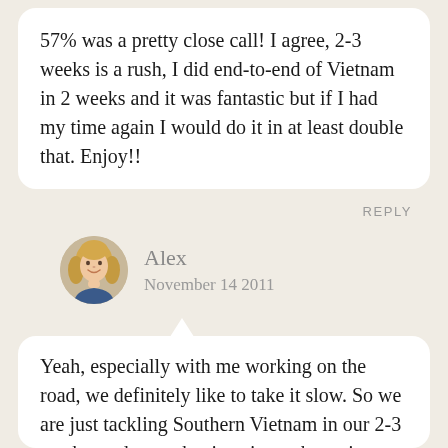57% was a pretty close call! I agree, 2-3 weeks is a rush, I did end-to-end of Vietnam in 2 weeks and it was fantastic but if I had my time again I would do it in at least double that. Enjoy!!
REPLY
Alex
November 14 2011
[Figure (photo): Circular avatar photo of a blonde woman named Alex]
Yeah, especially with me working on the road, we definitely like to take it slow. So we are just tackling Southern Vietnam in our 2-3 weeks, and even that is going to be action packed! There is so much